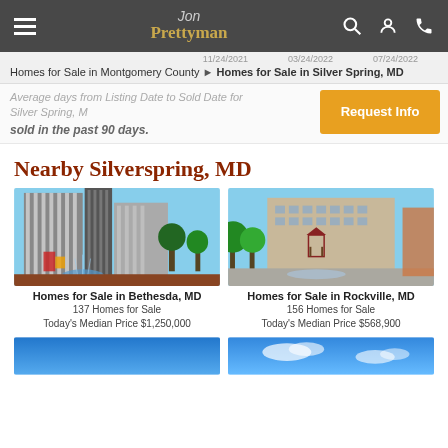Jon Prettyman
11/24/2021   03/24/2022   07/24/2022
Homes for Sale in Montgomery County ▶ Homes for Sale in Silver Spring, MD
Average days from Listing Date to Sold Date for Silver Spring, M... sold in the past 90 days.
Nearby Silverspring, MD
[Figure (photo): Photo of downtown Bethesda MD with modern striped buildings and a fountain]
Homes for Sale in Bethesda, MD
137 Homes for Sale
Today's Median Price $1,250,000
[Figure (photo): Photo of downtown Rockville MD town square with gazebo and trees]
Homes for Sale in Rockville, MD
156 Homes for Sale
Today's Median Price $568,900
[Figure (photo): Partial view of a blue sky photo (bottom of page, left)]
[Figure (photo): Partial view of a blue sky with clouds photo (bottom of page, right)]